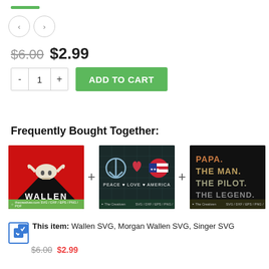[Figure (other): Green accent bar at top]
[Figure (other): Navigation prev/next circle buttons]
$6.00 $2.99
[Figure (other): Quantity selector with minus, 1, plus and ADD TO CART green button]
Frequently Bought Together:
[Figure (other): Three product thumbnails side by side with + signs between them. First: Wallen SVG with bull skull on red background. Second: Peace Love America SVG on dark grid background. Third: Papa The Man The Pilot The Legend SVG on black background.]
This item: Wallen SVG, Morgan Wallen SVG, Singer SVG
$6.00 $2.99